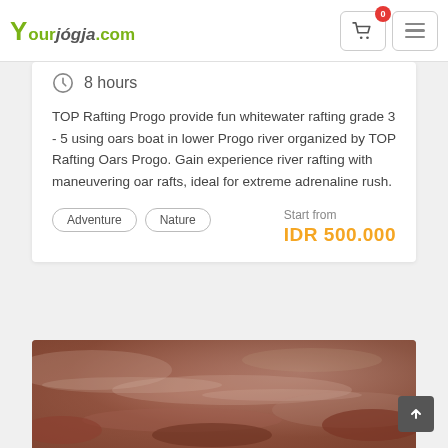YourJogja.com — navigation bar with cart (0) and menu
8 hours
TOP Rafting Progo provide fun whitewater rafting grade 3 - 5 using oars boat in lower Progo river organized by TOP Rafting Oars Progo. Gain experience river rafting with maneuvering oar rafts, ideal for extreme adrenaline rush.
Adventure
Nature
Start from IDR 500.000
[Figure (photo): Blurred photo of a river with reddish-brown water and rocky banks, partially visible at the bottom of the page.]